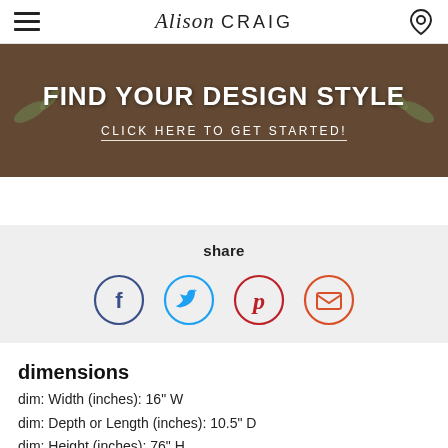Alison CRAIG
[Figure (infographic): Banner with text FIND YOUR DESIGN STYLE and CLICK HERE TO GET STARTED! on a brown/taupe background with foliage]
share
[Figure (infographic): Four social share icons: Facebook (dark blue circle), Twitter (light blue circle), Pinterest (dark red circle), Email (orange-red circle)]
dimensions
dim: Width (inches): 16" W
dim: Depth or Length (inches): 10.5" D
dim: Height (inches): 76" H